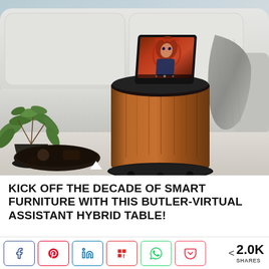[Figure (photo): A wooden cylindrical smart side table with a black top and a tablet mounted on it showing an animated character with red hair, placed next to a light grey sofa with a grey throw blanket, with green plants and a dark serving tray visible on the floor.]
KICK OFF THE DECADE OF SMART FURNITURE WITH THIS BUTLER-VIRTUAL ASSISTANT HYBRID TABLE!
< 2.0K SHARES